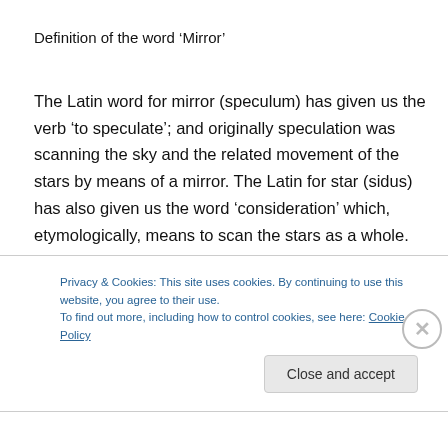Definition of the word ‘Mirror’
The Latin word for mirror (speculum) has given us the verb ‘to speculate’; and originally speculation was scanning the sky and the related movement of the stars by means of a mirror. The Latin for star (sidus) has also given us the word ‘consideration’ which, etymologically, means to scan the stars as a whole. Both abstract nouns which now describe highly intellectual activities are rooted in the study of the stars reflected in mirrors. It follows, then, that
Privacy & Cookies: This site uses cookies. By continuing to use this website, you agree to their use.
To find out more, including how to control cookies, see here: Cookie Policy